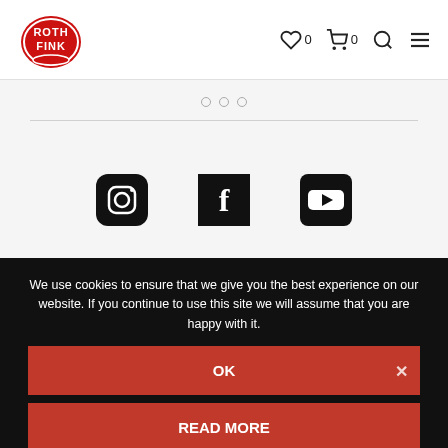[Figure (logo): Rothfink logo — circular red badge with white distressed text 'ROTHFINK' and a red/white design]
[Figure (infographic): Navigation bar icons: heart with count 0, shopping cart with count 0, search icon, hamburger menu icon]
[Figure (infographic): Three small grey circles (carousel dots indicator)]
[Figure (infographic): Social media icons: Instagram, Facebook, YouTube]
Store
We use cookies to ensure that we give you the best experience on our website. If you continue to use this site we will assume that you are happy with it.
OK
READ MORE